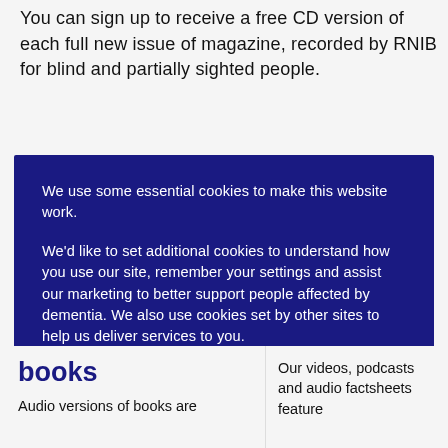You can sign up to receive a free CD version of each full new issue of magazine, recorded by RNIB for blind and partially sighted people.
We use some essential cookies to make this website work.
We'd like to set additional cookies to understand how you use our site, remember your settings and assist our marketing to better support people affected by dementia. We also use cookies set by other sites to help us deliver services to you.
[Figure (screenshot): Cookie consent banner with dark navy background containing two buttons: 'Manage Cookies' with a gold border outline and 'Accept All Cookies' in green]
books
Audio versions of books are
Our videos, podcasts and audio factsheets feature